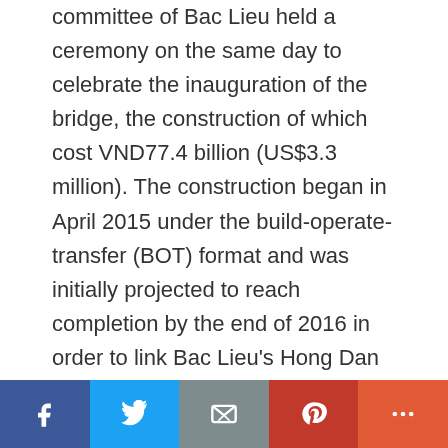committee of Bac Lieu held a ceremony on the same day to celebrate the inauguration of the bridge, the construction of which cost VND77.4 billion (US$3.3 million). The construction began in April 2015 under the build-operate-transfer (BOT) format and was initially projected to reach completion by the end of 2016 in order to link Bac Lieu's Hong Dan District with Hau Giang's Long My District by road. As the two districts were divided by the Vam Ngan Dua River, residents on the two sides had to resort to a ferry service for daily commute. The project was suspended for three years over various reasons before being resumed in 2019. Speaking at Tuesday's inauguration
[Figure (other): Social media sharing bar with Facebook, Twitter, Email, Pinterest, and More buttons]